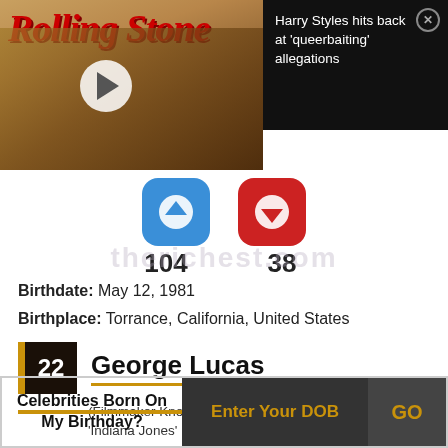[Figure (screenshot): Rolling Stone magazine logo with video thumbnail showing a person in a yellow jacket with a play button overlay]
Harry Styles hits back at 'queerbaiting' allegations
[Figure (infographic): Vote up (blue, 104) and vote down (red, 38) buttons with counts]
Birthdate: May 12, 1981
Birthplace: Torrance, California, United States
22 George Lucas
(Filmmaker Known for Creating the 'Star Wars' & 'Indiana Jones' Franchises)
Celebrities Born On My Birthday? Enter Your DOB GO